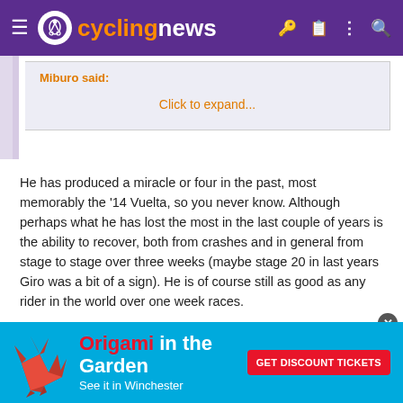cyclingnews
Miburo said:
Click to expand...
He has produced a miracle or four in the past, most memorably the '14 Vuelta, so you never know. Although perhaps what he has lost the most in the last couple of years is the ability to recover, both from crashes and in general from stage to stage over three weeks (maybe stage 20 in last years Giro was a bit of a sign). He is of course still as good as any rider in the world over one week races.
I still hope that he has what it takes to be a top three rider in GT's too, but if we try to compare to Froome, he crashed on stage 19 of this years Tour pretty hard, but still came back well the next day.
[Figure (other): Origami in the Garden advertisement banner — 'Origami in the Garden, See it in Winchester, Get Discount Tickets' with red origami deer figure on blue background]